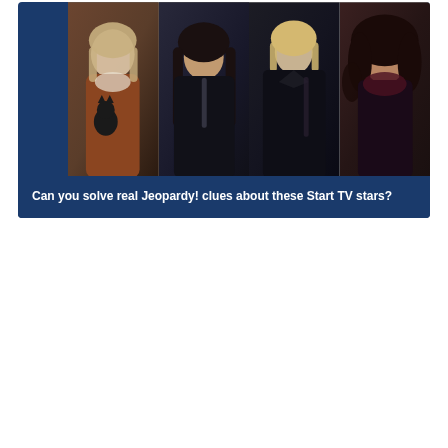[Figure (photo): A dark navy blue card containing a horizontal strip of four TV actresses in dark/dramatic poses. From left to right: a blonde woman in a brown leather jacket holding a black cat; a dark-haired woman in a black leather jacket; a blonde woman in a black coat; a dark-haired curly woman in dark clothing. Below the photo strip is a navy blue banner with white text.]
Can you solve real Jeopardy! clues about these Start TV stars?